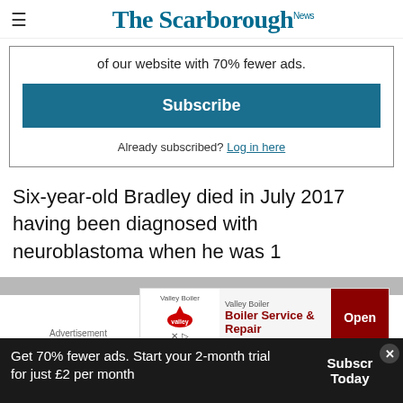The Scarborough News
of our website with 70% fewer ads.
Subscribe
Already subscribed? Log in here
Six-year-old Bradley died in July 2017 having been diagnosed with neuroblastoma when he was 1
[Figure (screenshot): Valley Boiler advertisement banner with 'Boiler Service & Repair' and Open button]
Get 70% fewer ads. Start your 2-month trial for just £2 per month
Subscribe Today